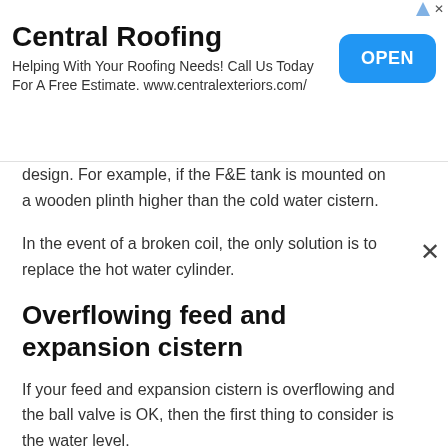[Figure (other): Advertisement banner for Central Roofing with OPEN button]
design. For example, if the F&E tank is mounted on a wooden plinth higher than the cold water cistern.
In the event of a broken coil, the only solution is to replace the hot water cylinder.
Overflowing feed and expansion cistern
If your feed and expansion cistern is overflowing and the ball valve is OK, then the first thing to consider is the water level.
There must be enough free space in the cistern so that when the heating is on, the water can expand by 4% of its original volume. If this space isn't there when the system is cold, then an overflow is very likely.